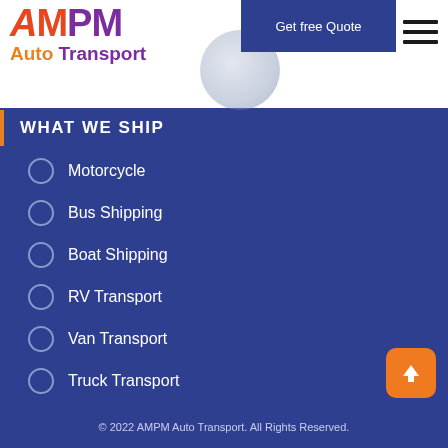[Figure (logo): AMPM Auto Transport logo with orange and purple text and globe graphic]
Get free Quote
WHAT WE SHIP
Motorcycle
Bus Shipping
Boat Shipping
RV Transport
Van Transport
Truck Transport
Trailer Transport
© 2022 AMPM Auto Transport. All Rights Reserved.